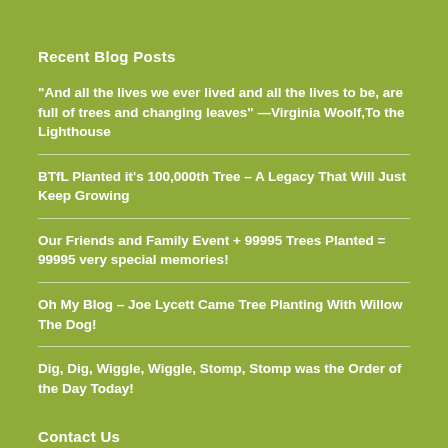Recent Blog Posts
“And all the lives we ever lived and all the lives to be, are full of trees and changing leaves” —Virginia Woolf,To the Lighthouse
BTfL Planted it’s 100,000th Tree – A Legacy That Will Just Keep Growing
Our Friends and Family Event + 99995 Trees Planted = 99995 very special memories!
Oh My Blog – Joe Lycett Came Tree Planting With Willow The Dog!
Dig, Dig, Wiggle, Wiggle, Stomp, Stomp was the Order of the Day Today!
Contact Us